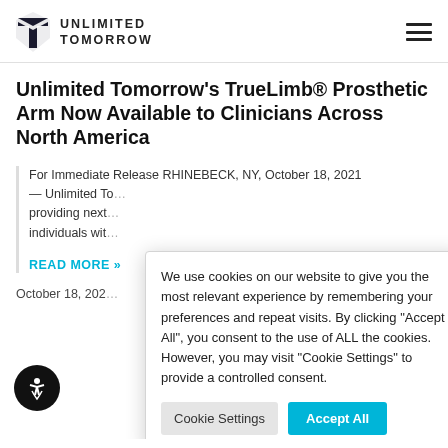UNLIMITED TOMORROW
Unlimited Tomorrow's TrueLimb® Prosthetic Arm Now Available to Clinicians Across North America
For Immediate Release RHINEBECK, NY, October 18, 2021 — Unlimited To... providing next... individuals wit...
READ MORE »
October 18, 202...
We use cookies on our website to give you the most relevant experience by remembering your preferences and repeat visits. By clicking "Accept All", you consent to the use of ALL the cookies. However, you may visit "Cookie Settings" to provide a controlled consent.
Cookie Settings   Accept All
IN THE NEWS